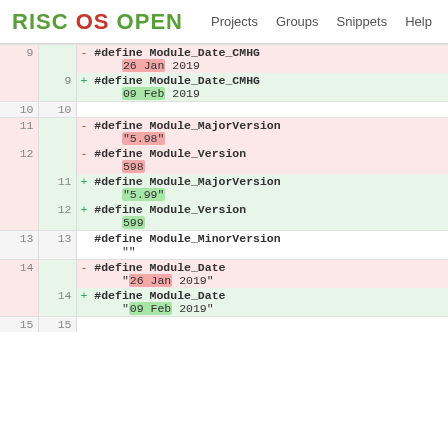RISC OS OPEN   Projects   Groups   Snippets   Help
| old# | new# | code |
| --- | --- | --- |
| 9 |  | - #define Module_Date_CMHG
      26 Jan 2019 |
|  | 9 | + #define Module_Date_CMHG
      09 Feb 2019 |
| 10 | 10 |  |
| 11 |  | - #define Module_MajorVersion
      "5.98" |
| 12 |  | - #define Module_Version
      598 |
|  | 11 | + #define Module_MajorVersion
      "5.99" |
|  | 12 | + #define Module_Version
      599 |
| 13 | 13 |   #define Module_MinorVersion
      "" |
| 14 |  | - #define Module_Date
      "26 Jan 2019" |
|  | 14 | + #define Module_Date
      "09 Feb 2019" |
| 15 | 15 |  |